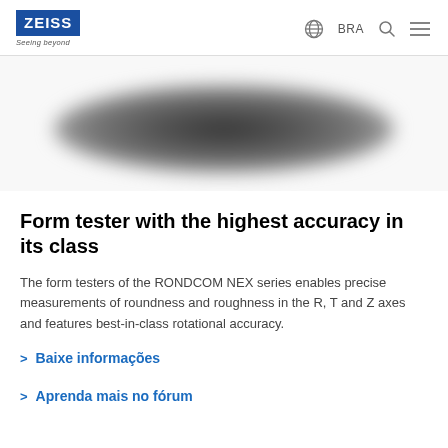ZEISS Seeing beyond | BRA
[Figure (photo): Blurred/blurred hero image of a RONDCOM NEX form tester instrument on a white background]
Form tester with the highest accuracy in its class
The form testers of the RONDCOM NEX series enables precise measurements of roundness and roughness in the R, T and Z axes and features best-in-class rotational accuracy.
> Baixe informações
> Aprenda mais no fórum